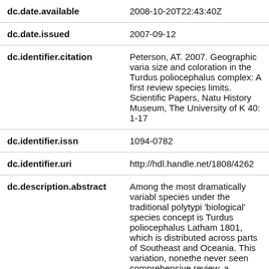| Field | Value |
| --- | --- |
| dc.date.available | 2008-10-20T22:43:40Z |
| dc.date.issued | 2007-09-12 |
| dc.identifier.citation | Peterson, AT. 2007. Geographic varia size and coloration in the Turdus poliocephalus complex: A first review species limits. Scientific Papers, Natu History Museum, The University of K 40: 1-17 |
| dc.identifier.issn | 1094-0782 |
| dc.identifier.uri | http://hdl.handle.net/1808/4262 |
| dc.description.abstract | Among the most dramatically variabl species under the traditional polytypi 'biological' species concept is Turdus poliocephalus Latham 1801, which is distributed across parts of Southeast and Oceania. This variation, nonethe never seen comprehensive review, a particularly not in view of modern spe |